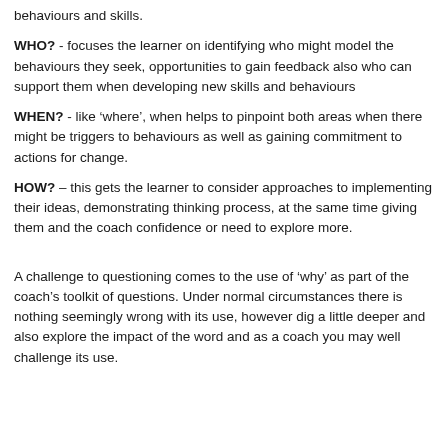behaviours and skills.
WHO? - focuses the learner on identifying who might model the behaviours they seek, opportunities to gain feedback also who can support them when developing new skills and behaviours
WHEN? - like 'where', when helps to pinpoint both areas when there might be triggers to behaviours as well as gaining commitment to actions for change.
HOW? – this gets the learner to consider approaches to implementing their ideas, demonstrating thinking process, at the same time giving them and the coach confidence or need to explore more.
A challenge to questioning comes to the use of 'why' as part of the coach's toolkit of questions. Under normal circumstances there is nothing seemingly wrong with its use, however dig a little deeper and also explore the impact of the word and as a coach you may well challenge its use.